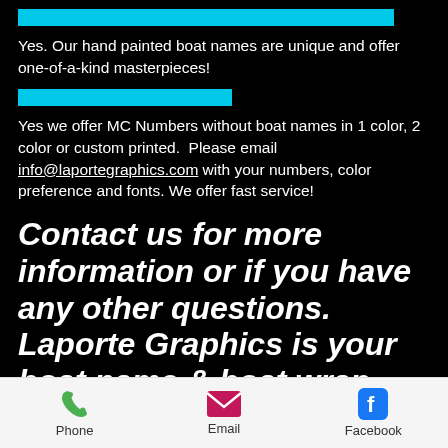Do you offer hand painting and real gold leaf graphics?
Yes. Our hand painted boat names are unique and offer one-of-a-kind masterpieces!
Do you just offer MC numbers?
Yes we offer MC Numbers without boat names in 1 color, 2 color or custom printed. Please email info@laportegraphics.com with your numbers, color preference and fonts. We offer fast service!
Contact us for more information or if you have any other questions. Laporte Graphics is your boat name & boat wrap headquarters!
Phone   Email   Facebook